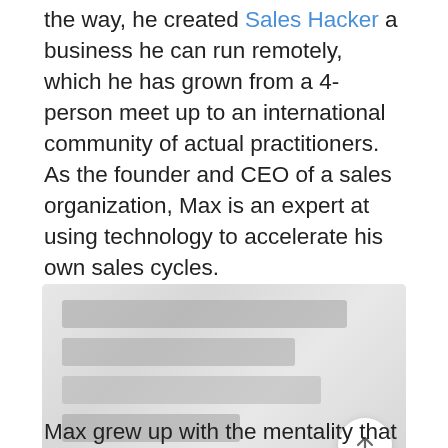the way, he created Sales Hacker a business he can run remotely, which he has grown from a 4-person meet up to an international community of actual practitioners. As the founder and CEO of a sales organization, Max is an expert at using technology to accelerate his own sales cycles.
[Figure (photo): A blurred/redacted image placeholder showing obscured text content, with a scroll-to-top button (upward arrow in a white circle) in the bottom-right corner.]
Max grew up with the mentality that sales are in everything you do